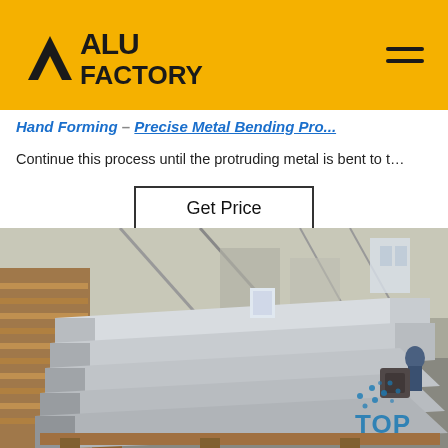ALU FACTORY
Hand Forming – Precise Metal Bending Pro...
Continue this process until the protruding metal is bent to t...
Get Price
[Figure (photo): Industrial factory interior showing large aluminum/metal sheets stacked on a pallet in a warehouse, with wooden pallets visible on the left and workers/equipment in the background. A blue 'TOP' watermark appears in the lower right corner.]